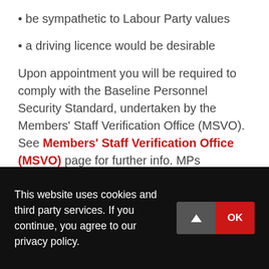• be sympathetic to Labour Party values
• a driving licence would be desirable
Upon appointment you will be required to comply with the Baseline Personnel Security Standard, undertaken by the Members' Staff Verification Office (MSVO). See Members' Staff Verification Office (MSVO) page for further info. MPs generally pay staff in accordance with IPSA guidelines.
Closing date: 21 January 2016, 5pm. If you have not heard from us by Monday 1 February,
This website uses cookies and third party services. If you continue, you agree to our privacy policy.